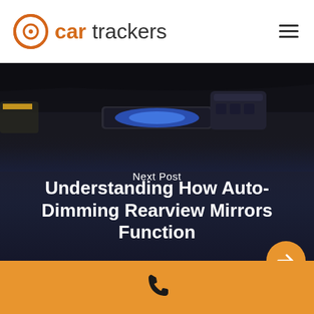[Figure (logo): Car Trackers logo with orange circular icon and text 'car trackers']
[Figure (photo): Dark car interior photo showing rearview mirror with blue glow, serving as hero image background]
Next Post
Understanding How Auto-Dimming Rearview Mirrors Function
[Figure (infographic): Orange footer bar with phone icon (call to action)]